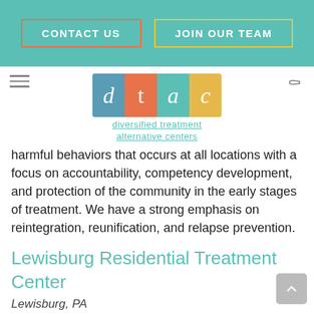CONTACT US | JOIN OUR TEAM
[Figure (logo): DTAC colored block logo with letters d, t, a, c in teal, orange, teal, yellow blocks. Below: 'diversified treatment alternative centers']
harmful behaviors that occurs at all locations with a focus on accountability, competency development, and protection of the community in the early stages of treatment. We have a strong emphasis on reintegration, reunification, and relapse prevention.
Lewisburg Residential Treatment Center
Lewisburg, PA